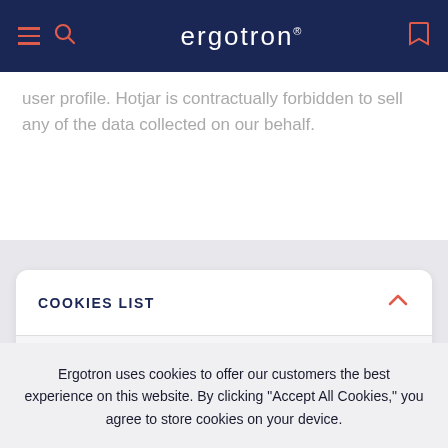ergotron
user profile. Hotjar is contractually forbidden to sell any of the data collected on our behalf.
COOKIES LIST
Ergotron uses cookies to offer our customers the best experience on this website. By clicking “Accept All Cookies,” you agree to store cookies on your device.